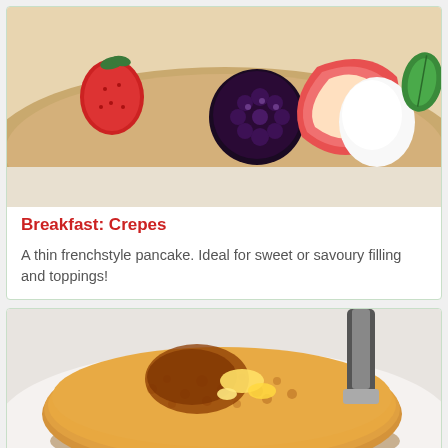[Figure (photo): A thin crepe topped with fresh fruit including strawberries, raspberries, blackberries, sliced apple, whipped cream, and a mint leaf.]
Breakfast: Crepes
A thin frenchstyle pancake. Ideal for sweet or savoury filling and toppings!
[Figure (photo): A golden crumpet on a white plate, topped with melting butter and syrup, with a knife visible in the background.]